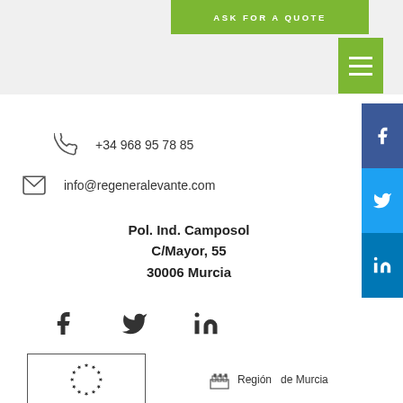ASK FOR A QUOTE
+34 968 95 78 85
info@regeneralevante.com
Pol. Ind. Camposol
C/Mayor, 55
30006 Murcia
[Figure (logo): EU stars circle logo in a rectangular border]
Región de Murcia